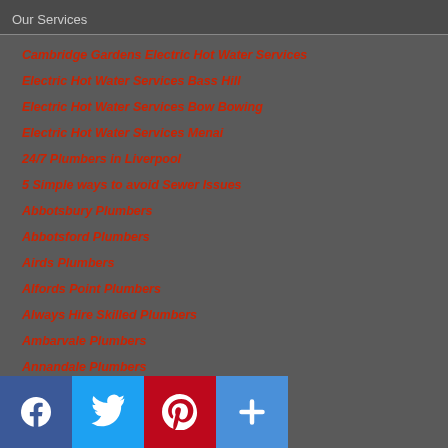Our Services
Cambridge Gardens Electric Hot Water Services
Electric Hot Water Services Bass Hill
Electric Hot Water Services Bow Bowing
Electric Hot Water Services Menai
24/7 Plumbers in Liverpool
5 Simple ways to avoid Sewer Issues
Abbotsbury Plumbers
Abbotsford Plumbers
Airds Plumbers
Alfords Point Plumbers
Always Hire Skilled Plumbers
Ambarvale Plumbers
Annandale Plumbers
Annangrove Plumbers
Areas We Service
Areas We Service Suburb